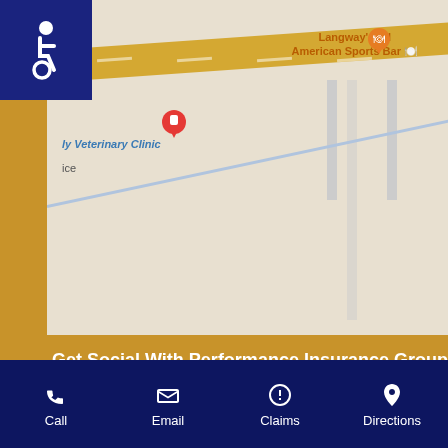[Figure (map): Google Maps screenshot showing location near 'ly Veterinary Clinic' and 'Langway's All American Sports Bar' with a red location pin marker. Top-left has a blue accessibility wheelchair icon.]
Get Social With Performance Insurance Group!
[Figure (infographic): Row of five dark navy circle social media icon buttons: Facebook, LinkedIn, Twitter, YouTube, Yelp]
Privacy Policy
[Figure (other): Facebook Messenger chat bubble button, light blue circle with white lightning bolt messenger icon]
Call | Email | Claims | Directions